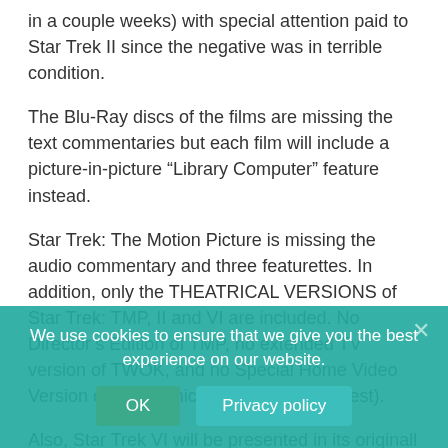in a couple weeks) with special attention paid to Star Trek II since the negative was in terrible condition.
The Blu-Ray discs of the films are missing the text commentaries but each film will include a picture-in-picture “Library Computer” feature instead.
Star Trek: The Motion Picture is missing the audio commentary and three featurettes. In addition, only the THEATRICAL VERSIONS of Star Trek: TMP, II and VI are included. No Director’s Edition of TMP, no extended TV version of TWOK, and no Special Home Video Version of TUC (which means no Col. West).
Also, Star Trek VI will be presented in its originall 2.35:1 aspect ratio. Previous widescreen releases have been opened up to roughly 2:1 (the film was shot in Super 35 so there was extra room to do that).
For more info:
http://www.thedigitalbits.com/mytwocentsa165.html#st
We use cookies to ensure that we give you the best experience on our website.